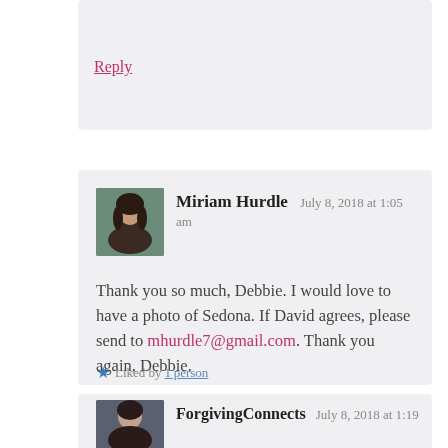Reply
[Figure (photo): Avatar photo of Miriam Hurdle - woman with dark hair]
Miriam Hurdle   July 8, 2018 at 1:05 am
Thank you so much, Debbie. I would love to have a photo of Sedona. If David agrees, please send to mhurdle7@gmail.com. Thank you again, Debbie.
Liked by 1person
[Figure (photo): Avatar photo of ForgivingConnects - woman with dark hair]
ForgivingConnects   July 8, 2018 at 1:19